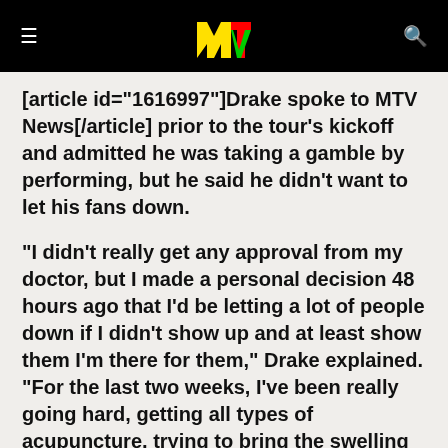MTV logo header with menu and search icons
[article id="1616997"]Drake spoke to MTV News[/article] prior to the tour's kickoff and admitted he was taking a gamble by performing, but he said he didn't want to let his fans down.
"I didn't really get any approval from my doctor, but I made a personal decision 48 hours ago that I'd be letting a lot of people down if I didn't show up and at least show them I'm there for them," Drake explained. "For the last two weeks, I've been really going hard, getting all types of acupuncture, trying to bring the swelling [in my knee] down. I'm walking around -- no cane. I'll put a brace on it tomorrow night. No one will probably even know I'm injured."
Upcoming America's Most Wanted tour dates: